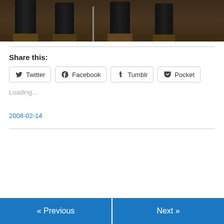[Figure (photo): Cropped photo showing the lower halves of people wearing dark leather pants and boots, standing on a floor.]
Share this:
Twitter
Facebook
Tumblr
Pocket
Loading...
2008-02-14
« Previous
Next »